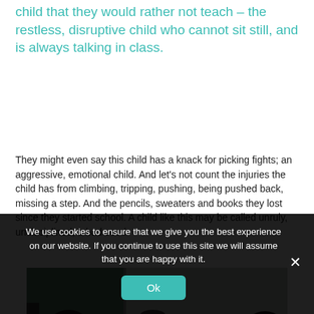child that they would rather not teach – the restless, disruptive child who cannot sit still, and is always talking in class.
They might even say this child has a knack for picking fights; an aggressive, emotional child. And let's not count the injuries the child has from climbing, tripping, pushing, being pushed back, missing a step. And the pencils, sweaters and books they lost since they started school. A child like this may be called unruly, undisciplined, a bad seed.
[Figure (photo): Partial photo of a classroom scene showing students from behind, with a green chalkboard on the left side.]
We use cookies to ensure that we give you the best experience on our website. If you continue to use this site we will assume that you are happy with it.